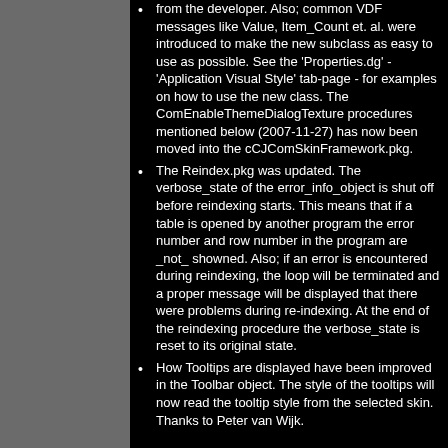from the developer. Also; common VDF messages like Value, Item_Count et. al. were introduced to make the new subclass as easy to use as possible. See the 'Properties.dg' - 'Application Visual Style' tab-page - for examples on how to use the new class. The ComEnableThemeDialogTexture procedures mentioned below (2007-11-27) has now been moved into the cCJComSkinFramework.pkg.
The Reindex.pkg was updated. The verbose_state of the error_info_object is shut off before reindexing starts. This means that if a table is opened by another program the error number and row number in the program are _not_ showned. Also; if an error is encountered during reindexing, the loop will be terminated and a proper message will be displayed that there were problems during re-indexing. At the end of the reindexing procedure the verbose_state is reset to its original state.
How Tooltips are displayed have been improved in the Toolbar object. The style of the tooltips will now read the tooltip style from the selected skin. Thanks to Peter van Wijk.
2007-11-27